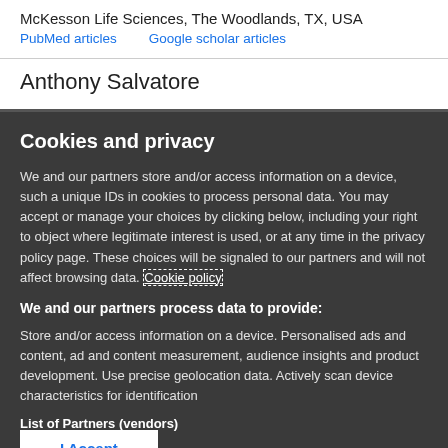McKesson Life Sciences, The Woodlands, TX, USA
PubMed articles    Google scholar articles
Anthony Salvatore
Cookies and privacy
We and our partners store and/or access information on a device, such a unique IDs in cookies to process personal data. You may accept or manage your choices by clicking below, including your right to object where legitimate interest is used, or at any time in the privacy policy page. These choices will be signaled to our partners and will not affect browsing data. Cookie policy
We and our partners process data to provide:
Store and/or access information on a device. Personalised ads and content, ad and content measurement, audience insights and product development. Use precise geolocation data. Actively scan device characteristics for identification
List of Partners (vendors)
I Accept